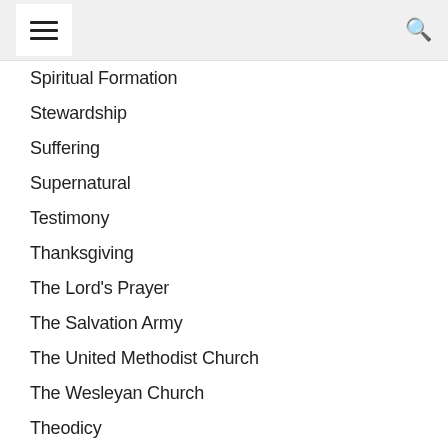Spiritual Formation
Stewardship
Suffering
Supernatural
Testimony
Thanksgiving
The Lord's Prayer
The Salvation Army
The United Methodist Church
The Wesleyan Church
Theodicy
Theological Education
Theology
Theology of Work
Transfiguration